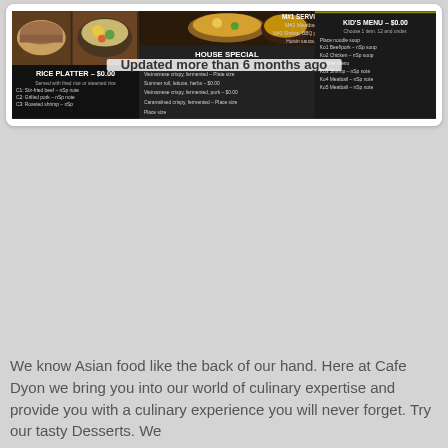[Figure (photo): A dark-themed restaurant menu board showing Rice Platter, House Special, and Kids Menu sections with prices and food photos. Overlaid with a semi-transparent banner reading 'Updated more than 6 months ago'.]
We know Asian food like the back of our hand. Here at Cafe Dyon we bring you into our world of culinary expertise and provide you with a culinary experience you will never forget. Try our tasty Desserts. We